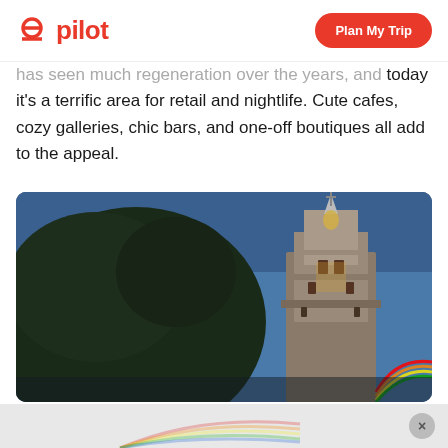pilot | Plan My Trip
has seen much regeneration over the years, and today it's a terrific area for retail and nightlife. Cute cafes, cozy galleries, chic bars, and one-off boutiques all add to the appeal.
[Figure (photo): A church tower (Westerkerk) illuminated against a blue dusk sky, with dark trees on the left and a rainbow flag visible at the base of the tower.]
[Figure (photo): Bottom partial image showing a rainbow against a light grey sky, partially obscured.]